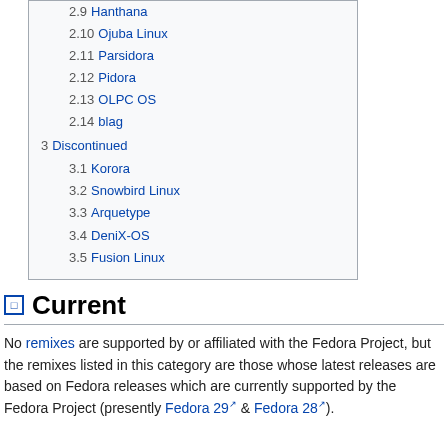2.9 Hanthana
2.10 Ojuba Linux
2.11 Parsidora
2.12 Pidora
2.13 OLPC OS
2.14 blag
3 Discontinued
3.1 Korora
3.2 Snowbird Linux
3.3 Arquetype
3.4 DeniX-OS
3.5 Fusion Linux
Current
No remixes are supported by or affiliated with the Fedora Project, but the remixes listed in this category are those whose latest releases are based on Fedora releases which are currently supported by the Fedora Project (presently Fedora 29 & Fedora 28).